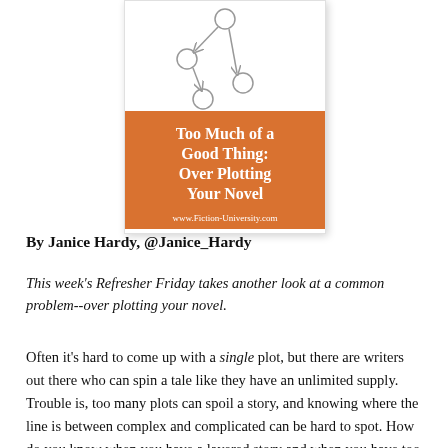[Figure (illustration): Book cover image for 'Too Much of a Good Thing: Over Plotting Your Novel' by Fiction-University.com. Top half shows a network diagram with circles and arrows on white background. Bottom half is orange with white bold text showing the title and website URL.]
By Janice Hardy, @Janice_Hardy
This week's Refresher Friday takes another look at a common problem--over plotting your novel.
Often it's hard to come up with a single plot, but there are writers out there who can spin a tale like they have an unlimited supply. Trouble is, too many plots can spoil a story, and knowing where the line is between complex and complicated can be hard to spot. How do you know when you have a layered story and when you have too much plot?